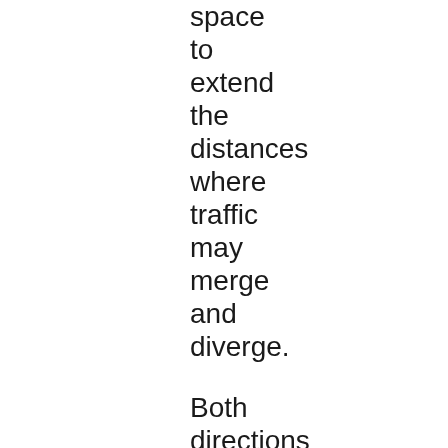space to extend the distances where traffic may merge and diverge. Both directions of I-95 between Exit 57 and Exit 61 are